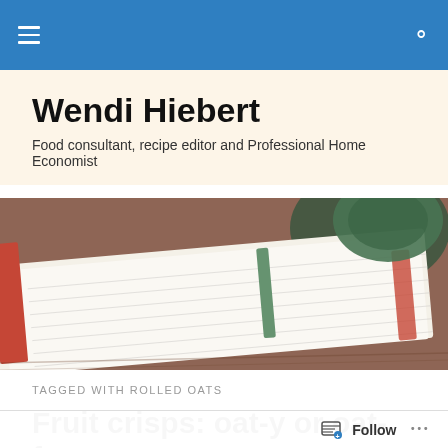Navigation bar with hamburger menu and search icon
Wendi Hiebert
Food consultant, recipe editor and Professional Home Economist
[Figure (photo): Close-up photo of an open spiral notebook with lined pages and red binding, next to a green cup on a wooden surface, with a warm beige tint overlay]
TAGGED WITH ROLLED OATS
Fruit crisps: oat-y or oat-free
I remember the conversation as if it happened yesterday,
Follow ...